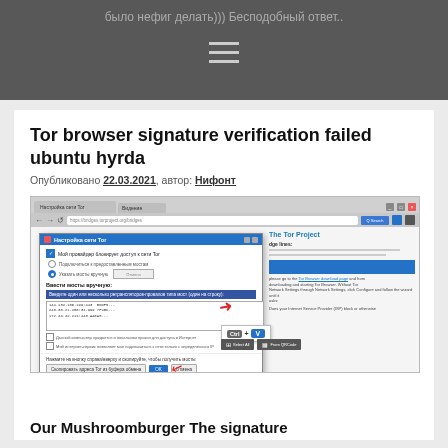было нефиг делать))) Бесподобный ответ..
Tor browser signature verification failed ubuntu hyrda
Опубликовано 22.03.2021, автор: Нифонт
[Figure (screenshot): Screenshot of Tor Browser network settings dialog with bridge configuration, showing Ctrl+V paste action and Select All / From QRCode buttons]
Our Mushroomburger The signature